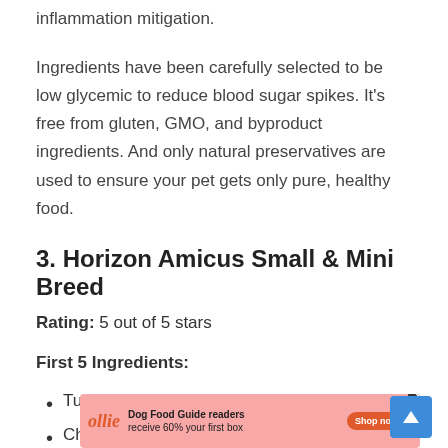inflammation mitigation.
Ingredients have been carefully selected to be low glycemic to reduce blood sugar spikes. It's free from gluten, GMO, and byproduct ingredients. And only natural preservatives are used to ensure your pet gets only pure, healthy food.
3. Horizon Amicus Small & Mini Breed
Rating: 5 out of 5 stars
First 5 Ingredients:
Turkey
Chi…